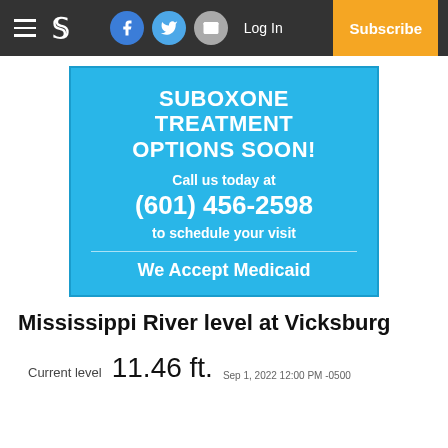Navigation bar with hamburger menu, newspaper logo, social icons (Facebook, Twitter, Email), Log In, Subscribe
[Figure (infographic): Advertisement for Suboxone treatment options. Blue background. Text: SUBOXONE TREATMENT OPTIONS SOON! Call us today at (601) 456-2598 to schedule your visit. We Accept Medicaid.]
Mississippi River level at Vicksburg
Current level   11.46 ft.
Sep 1, 2022 12:00 PM -0500